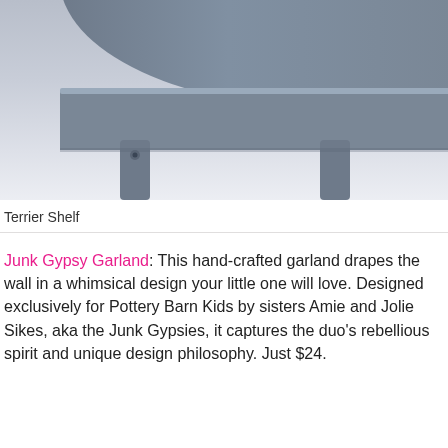[Figure (photo): Close-up photo of a grey painted wooden dog/terrier shaped shelf, showing the bottom portion with legs and base detail against a light background.]
Terrier Shelf
Junk Gypsy Garland: This hand-crafted garland drapes the wall in a whimsical design your little one will love. Designed exclusively for Pottery Barn Kids by sisters Amie and Jolie Sikes, aka the Junk Gypsies, it captures the duo’s rebellious spirit and unique design philosophy. Just $24.